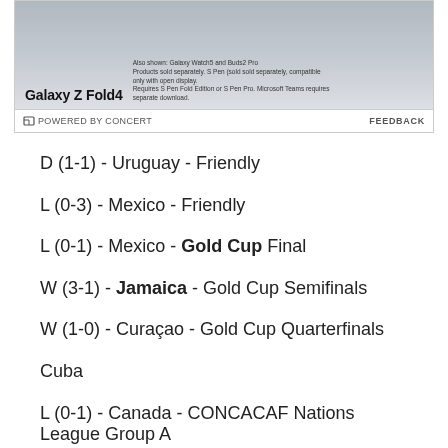[Figure (photo): Samsung Galaxy Z Fold4 advertisement banner showing Samsung devices]
POWERED BY CONCERT   FEEDBACK
D (1-1) - Uruguay - Friendly
L (0-3) - Mexico - Friendly
L (0-1) - Mexico - Gold Cup Final
W (3-1) - Jamaica - Gold Cup Semifinals
W (1-0) - Curaçao - Gold Cup Quarterfinals
Cuba
L (0-1) - Canada - CONCACAF Nations League Group A